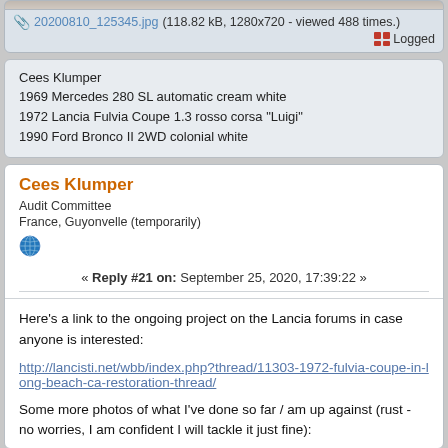[Figure (photo): Partial top of a photo, cropped at top of page]
20200810_125345.jpg (118.82 kB, 1280x720 - viewed 488 times.)
Logged
Cees Klumper
1969 Mercedes 280 SL automatic cream white
1972 Lancia Fulvia Coupe 1.3 rosso corsa "Luigi"
1990 Ford Bronco II 2WD colonial white
Cees Klumper
Audit Committee
France, Guyonvelle (temporarily)
« Reply #21 on: September 25, 2020, 17:39:22 »
Here's a link to the ongoing project on the Lancia forums in case anyone is interested:
http://lancisti.net/wbb/index.php?thread/11303-1972-fulvia-coupe-in-long-beach-ca-restoration-thread/
Some more photos of what I've done so far / am up against (rust - no worries, I am confident I will tackle it just fine):
[Figure (photo): Partial bottom strip of photos, cropped at bottom of page]